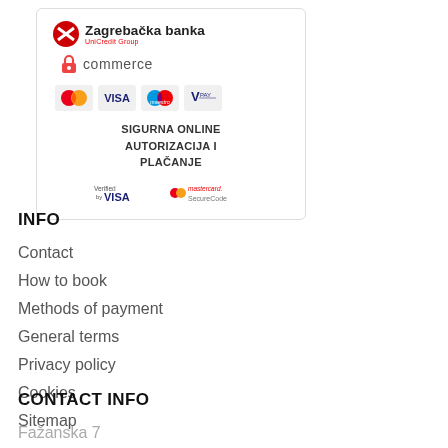[Figure (logo): Zagrebačka banka UniCredit Group payment security box with bank logo, eCommerce lock icon, card logos (Mastercard, VISA, Maestro, V Pay), text SIGURNA ONLINE AUTORIZACIJA I PLAČANJE, and Verified by VISA / Mastercard SecureCode logos]
INFO
Contact
How to book
Methods of payment
General terms
Privacy policy
Cookies
Sitemap
CONTACT INFO
Fažanska 7